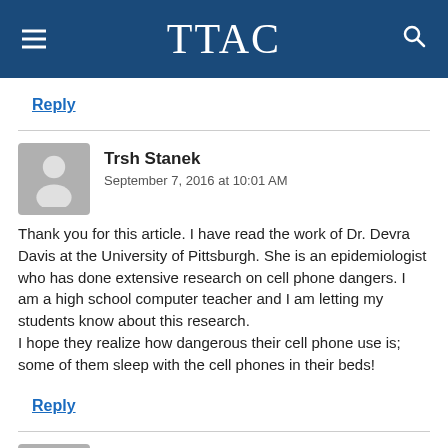TTAC
Reply
Trsh Stanek
September 7, 2016 at 10:01 AM
Thank you for this article. I have read the work of Dr. Devra Davis at the University of Pittsburgh. She is an epidemiologist who has done extensive research on cell phone dangers. I am a high school computer teacher and I am letting my students know about this research.
I hope they realize how dangerous their cell phone use is; some of them sleep with the cell phones in their beds!
Reply
Margie
September 7, 2016 at 10:04 AM